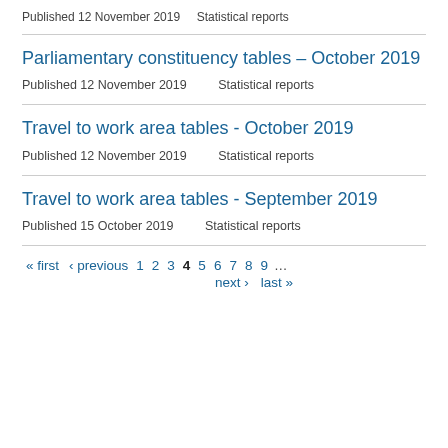Published 12 November 2019    Statistical reports
Parliamentary constituency tables – October 2019
Published 12 November 2019    Statistical reports
Travel to work area tables - October 2019
Published 12 November 2019    Statistical reports
Travel to work area tables - September 2019
Published 15 October 2019    Statistical reports
« first  ‹ previous  1  2  3  4  5  6  7  8  9  …  next ›  last »